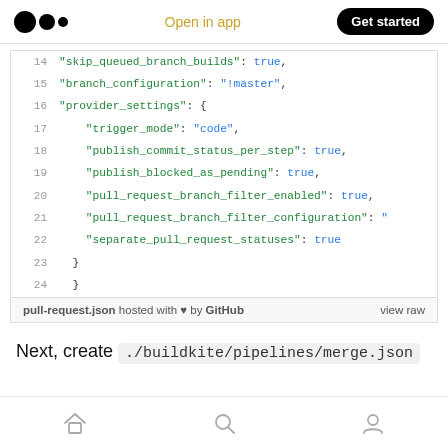Medium logo | Open in app | Get started
[Figure (screenshot): Code snippet showing JSON configuration lines 14-24 with syntax highlighting. Keys in green, values (true, strings) in blue. Lines: 14: "skip_queued_branch_builds": true, 15: "branch_configuration": "!master", 16: "provider_settings": {, 17: "trigger_mode": "code", 18: "publish_commit_status_per_step": true, 19: "publish_blocked_as_pending": true, 20: "pull_request_branch_filter_enabled": true, 21: "pull_request_branch_filter_configuration": ", 22: "separate_pull_request_statuses": true, 23: }, 24: }]
pull-request.json hosted with ❤ by GitHub  view raw
Next, create ./buildkite/pipelines/merge.json
Home | Search | Profile